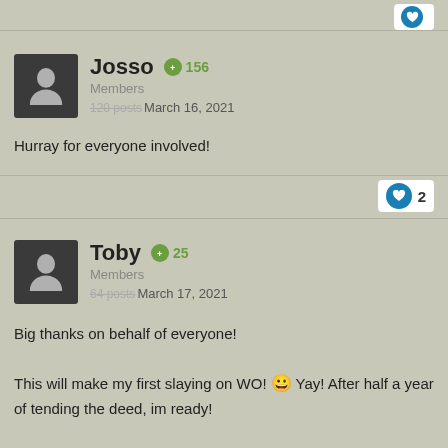Josso  +156
Members
120 posts
Posted March 16, 2021
Hurray for everyone involved!
2 likes
Toby  +25
Members
64 posts
Posted March 17, 2021
Big thanks on behalf of everyone!

This will make my first slaying on WO! 😀 Yay! After half a year of tending the deed, im ready!